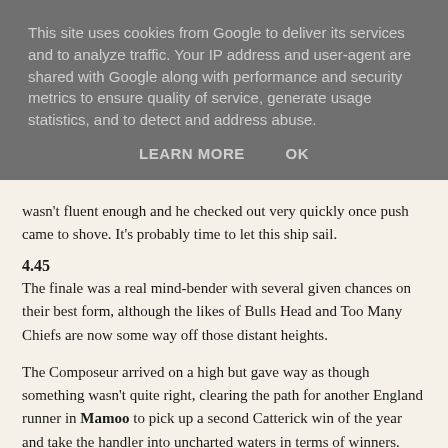This site uses cookies from Google to deliver its services and to analyze traffic. Your IP address and user-agent are shared with Google along with performance and security metrics to ensure quality of service, generate usage statistics, and to detect and address abuse.
LEARN MORE    OK
wasn't fluent enough and he checked out very quickly once push came to shove. It's probably time to let this ship sail.
4.45
The finale was a real mind-bender with several given chances on their best form, although the likes of Bulls Head and Too Many Chiefs are now some way off those distant heights.
The Composeur arrived on a high but gave way as though something wasn't quite right, clearing the path for another England runner in Mamoo to pick up a second Catterick win of the year and take the handler into uncharted waters in terms of winners.
In keeping with their style, they decided to change the way this